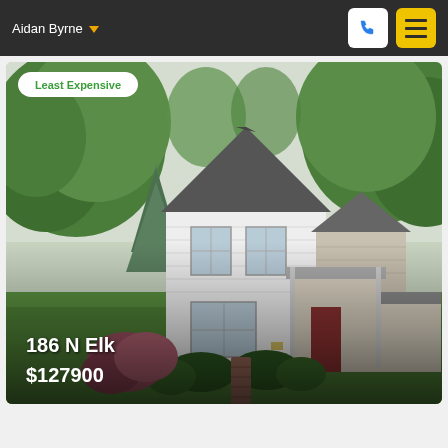Aidan Byrne
[Figure (photo): Exterior photo of a white two-story house with dark roof, surrounded by green trees and lawn, brick walkway leading to covered front porch. Address 186 N Elk, price $127900 overlaid at bottom left. Badge 'Least Expensive' at top left.]
186 N Elk
$127900